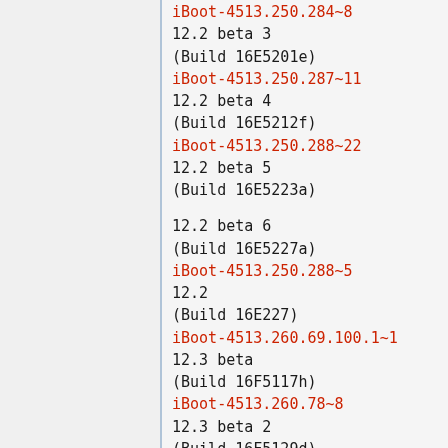iBoot-4513.250.284~8
12.2 beta 3
(Build 16E5201e)
iBoot-4513.250.287~11
12.2 beta 4
(Build 16E5212f)
iBoot-4513.250.288~22
12.2 beta 5
(Build 16E5223a)
12.2 beta 6
(Build 16E5227a)
iBoot-4513.250.288~5
12.2
(Build 16E227)
iBoot-4513.260.69.100.1~1
12.3 beta
(Build 16F5117h)
iBoot-4513.260.78~8
12.3 beta 2
(Build 16F5129d)
iBoot-4513.260.80~30
12.3 beta 3
(Build 16F5139e)
iBoot-4513.260.81~11